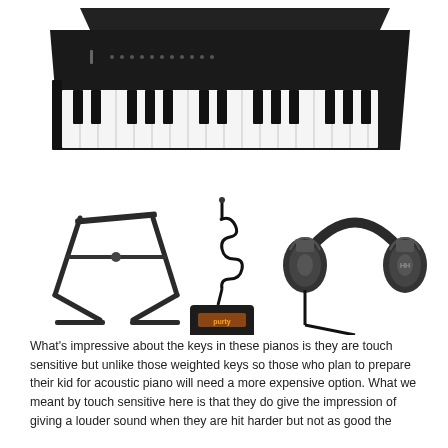[Figure (photo): A black Casio or similar electronic keyboard/synthesizer with 61 keys, viewed from a slight angle, showing white and black keys and control panel on top.]
[Figure (photo): Three keyboard accessories shown: an X-style keyboard stand (black, left), a sustain/damper pedal with coiled cable (center), and a pair of black over-ear studio headphones (right).]
What's impressive about the keys in these pianos is they are touch sensitive but unlike those weighted keys so those who plan to prepare their kid for acoustic piano will need a more expensive option. What we meant by touch sensitive here is that they do give the impression of giving a louder sound when they are hit harder but not as good the